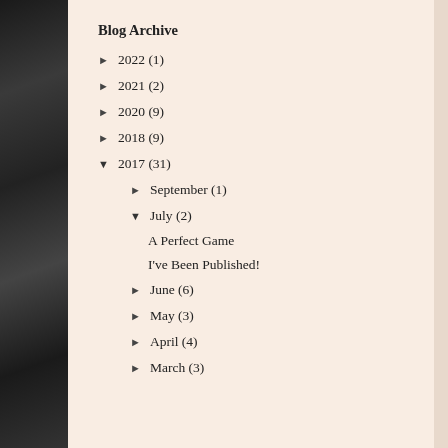Blog Archive
► 2022 (1)
► 2021 (2)
► 2020 (9)
► 2018 (9)
▼ 2017 (31)
► September (1)
▼ July (2)
A Perfect Game
I've Been Published!
► June (6)
► May (3)
► April (4)
► March (3)